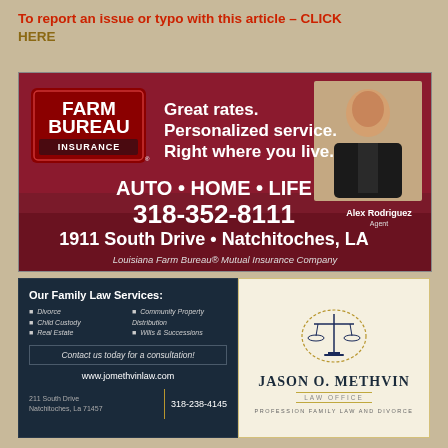To report an issue or typo with this article – CLICK HERE
[Figure (infographic): Farm Bureau Insurance advertisement: Great rates. Personalized service. Right where you live. AUTO • HOME • LIFE 318-352-8111 1911 South Drive • Natchitoches, LA Louisiana Farm Bureau® Mutual Insurance Company. Agent: Alex Rodriguez.]
[Figure (infographic): Jason O. Methvin Law Office advertisement. Left dark panel: Our Family Law Services - Divorce, Child Custody, Real Estate, Community Property Distribution, Wills & Successions. Contact us today for a consultation! www.jomethvinlaw.com. 211 South Drive, Natchitoches, La 71457. 318-238-4145. Right cream panel: scales of justice logo, JASON O. METHVIN LAW OFFICE, PROFESSION FAMILY LAW AND DIVORCE.]